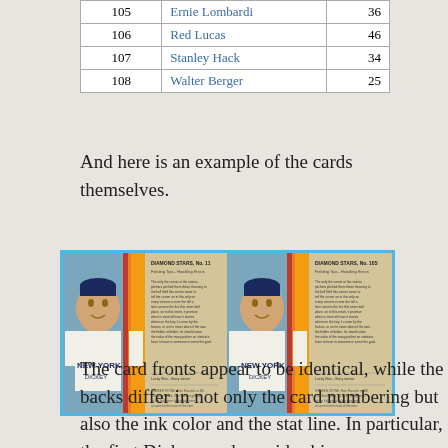| # | Name |  |
| --- | --- | --- |
| 105 | Ernie Lombardi | 36 |
| 106 | Red Lucas | 46 |
| 107 | Stanley Hack | 34 |
| 108 | Walter Berger | 25 |
And here is an example of the cards themselves.
[Figure (photo): Two Diamond Stars baseball cards shown front and back. Both show a New York player (Bill Dickey) in a Yankees uniform. The left pair shows the front (portrait illustration) and back (text with card number 11). The right pair shows another version of the same card with card number 105 on the back, with different ink color and stats.]
The card fronts appear to be identical, while the backs differ in not only the card numbering but also the ink color and the stat line. In particular, the first Dickey card provides his